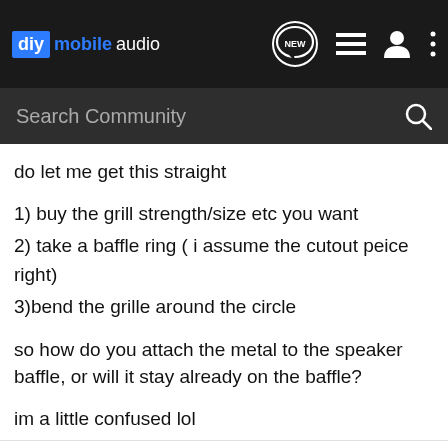diy mobile audio
Search Community
do let me get this straight

1) buy the grill strength/size etc you want
2) take a baffle ring ( i assume the cutout peice right)
3)bend the grille around the circle

so how do you attach the metal to the speaker baffle, or will it stay already on the baffle?

im a little confused lol
AzGrower · Registered